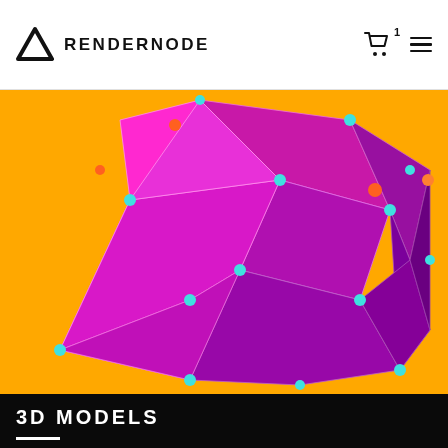RENDERNODE
[Figure (illustration): A low-poly 3D geometric shape in magenta/purple/pink tones with cyan and orange dots at vertices, connected by thin lines, on a bright orange/yellow background.]
3D MODELS